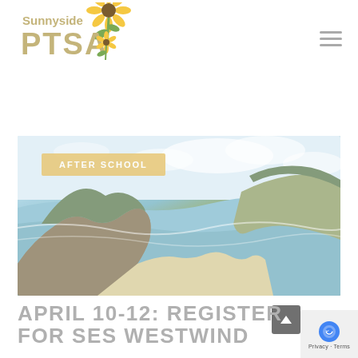[Figure (logo): Sunnyside PTSA logo with sunflower graphic and text]
[Figure (photo): Aerial coastal landscape photo showing rugged cliffs, forested hillsides, sandy beach cove, and ocean waves with cloudy sky. Overlaid with a semi-transparent white wash.]
AFTER SCHOOL
APRIL 10-12: REGISTER FOR SES WESTWIND